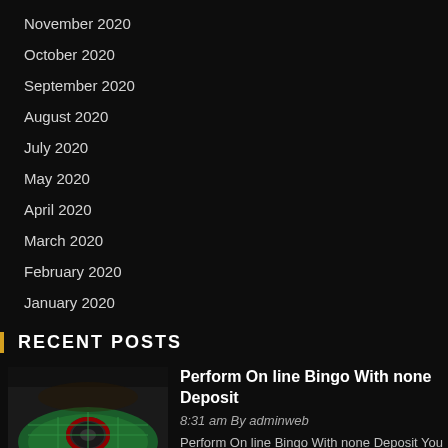November 2020
October 2020
September 2020
August 2020
July 2020
May 2020
April 2020
March 2020
February 2020
January 2020
RECENT POSTS
[Figure (photo): Casino roulette table viewed from above, dark background]
Perform On line Bingo With none Deposit
8:31 am By adminweb
Perform On line Bingo With none Deposit You wont have any problem when it comes to generating deposit. In terms